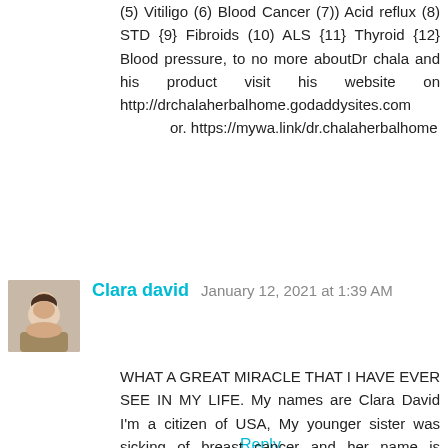(5) Vitiligo (6) Blood Cancer (7)) Acid reflux (8) STD {9} Fibroids (10) ALS {11} Thyroid {12} Blood pressure, to no more aboutDr chala and his product visit his website on http://drchalaherbalhome.godaddysites.com or. https://mywa.link/dr.chalaherbalhome
Reply
Clara david   January 12, 2021 at 1:39 AM
WHAT A GREAT MIRACLE THAT I HAVE EVER SEE IN MY LIFE. My names are Clara David I'm a citizen of USA, My younger sister was sicking of breast cancer and her name is Sandra David I and my family have taking her to all kind of hospital in USA still yet no good result. I decided to search for cancer cure so that was how I found a lady called Peter Lizzy. She was testifying  to the world about the goodness of a herbal man who has the roots and herbs to cure all kinds of disease and the herbal man's email was there.  So I decided to contact the herbal man @herbalist_sakura for my younger sister's help to cure her breast cancer. I contacted him and told him my problem he told me that I should not worry that my sister cancer will be